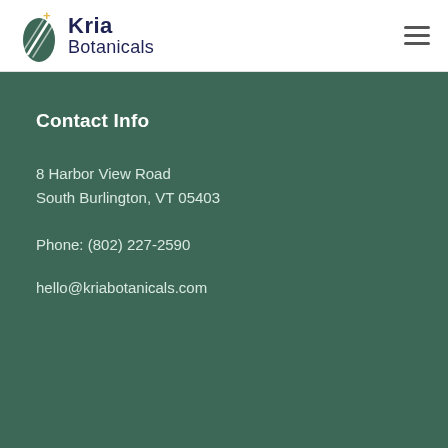[Figure (logo): Kria Botanicals logo with green leaf icon and dark navy text]
Contact Info
8 Harbor View Road
South Burlington, VT 05403
Phone:  (802) 227-2590
hello@kriabotanicals.com